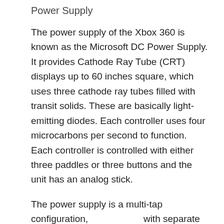Power Supply
The power supply of the Xbox 360 is known as the Microsoft DC Power Supply. It provides Cathode Ray Tube (CRT) displays up to 60 inches square, which uses three cathode ray tubes filled with transit solids. These are basically light-emitting diodes. Each controller uses four microcarbons per second to function. Each controller is controlled with either three paddles or three buttons and the unit has an analog stick.
The power supply is a multi-tap configuration,                    with separate DC current flows into each tap. When there is a fault in the power supply, there will be alternating trains of high- voltage and current. This chaotic